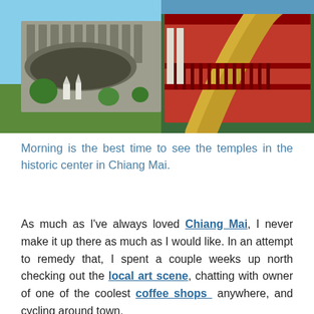[Figure (photo): Photograph of Chiang Mai temple complex showing ancient stone wall with carved figures on the left and ornate red and gold temple structure with golden decorative elements on the right, set against a blue sky with green trees and manicured shrubs in the foreground.]
Morning is the best time to see the temples in the historic center in Chiang Mai.
As much as I've always loved Chiang Mai, I never make it up there as much as I would like. In an attempt to remedy that, I spent a couple weeks up north checking out the local art scene, chatting with owner of one of the coolest coffee shops anywhere, and cycling around town.